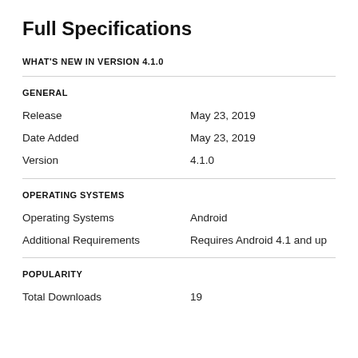Full Specifications
WHAT'S NEW IN VERSION 4.1.0
GENERAL
Release: May 23, 2019
Date Added: May 23, 2019
Version: 4.1.0
OPERATING SYSTEMS
Operating Systems: Android
Additional Requirements: Requires Android 4.1 and up
POPULARITY
Total Downloads: 19